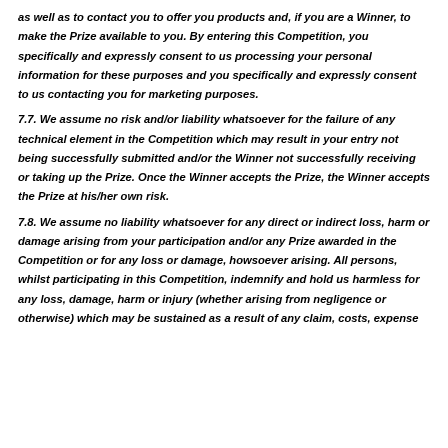as well as to contact you to offer you products and, if you are a Winner, to make the Prize available to you. By entering this Competition, you specifically and expressly consent to us processing your personal information for these purposes and you specifically and expressly consent to us contacting you for marketing purposes.
7.7. We assume no risk and/or liability whatsoever for the failure of any technical element in the Competition which may result in your entry not being successfully submitted and/or the Winner not successfully receiving or taking up the Prize. Once the Winner accepts the Prize, the Winner accepts the Prize at his/her own risk.
7.8. We assume no liability whatsoever for any direct or indirect loss, harm or damage arising from your participation and/or any Prize awarded in the Competition or for any loss or damage, howsoever arising. All persons, whilst participating in this Competition, indemnify and hold us harmless for any loss, damage, harm or injury (whether arising from negligence or otherwise) which may be sustained as a result of any claim, costs, expense